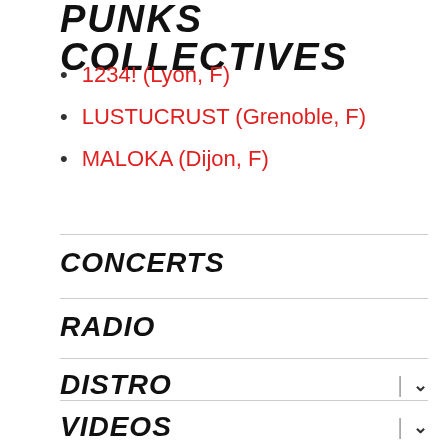PUNKS COLLECTIVES
1234! (Lyon, F)
LUSTUCRUST (Grenoble, F)
MALOKA (Dijon, F)
CONCERTS
RADIO
DISTRO
VIDEOS
ARCHIVES
CONTACTS